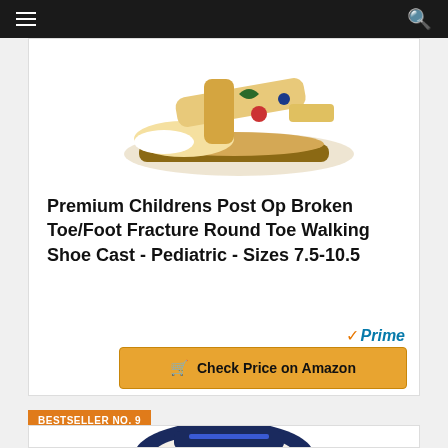[Figure (photo): Children's post-op walking shoe cast, beige/tan sandal with velcro strap and colorful decorative design on white background]
Premium Childrens Post Op Broken Toe/Foot Fracture Round Toe Walking Shoe Cast - Pediatric - Sizes 7.5-10.5
Check Price on Amazon
BESTSELLER NO. 9
[Figure (photo): Children's sneaker/shoe, dark navy blue with white accents and velcro strap]